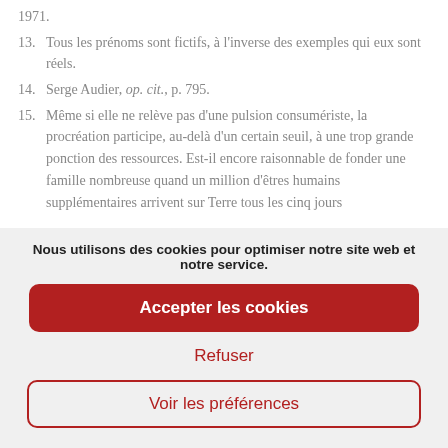1971.
13. Tous les prénoms sont fictifs, à l'inverse des exemples qui eux sont réels.
14. Serge Audier, op. cit., p. 795.
15. Même si elle ne relève pas d'une pulsion consumériste, la procréation participe, au-delà d'un certain seuil, à une trop grande ponction des ressources. Est-il encore raisonnable de fonder une famille nombreuse quand un million d'êtres humains supplémentaires arrivent sur Terre tous les cinq jours
Nous utilisons des cookies pour optimiser notre site web et notre service.
Accepter les cookies
Refuser
Voir les préférences